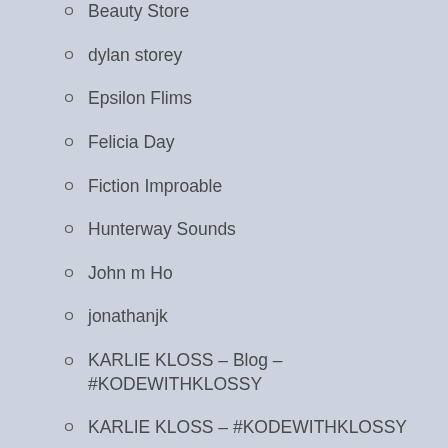Beauty Store
dylan storey
Epsilon Flims
Felicia Day
Fiction Improable
Hunterway Sounds
John m Ho
jonathanjk
KARLIE KLOSS – Blog – #KODEWITHKLOSSY
KARLIE KLOSS – #KODEWITHKLOSSY
Light Cosplay
Living with Frankenstein
[Figure (photo): A close-up photo showing a white decorative item or costume piece with gold/dark ornamental swirl designs against a dark background]